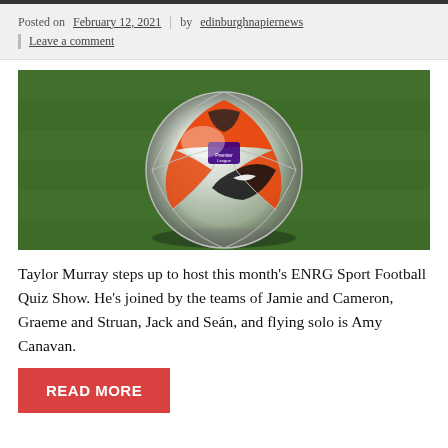Posted on February 12, 2021 | by edinburghnapiernews | Leave a comment
[Figure (photo): Close-up photo of a Nike Premier League football on green grass]
Taylor Murray steps up to host this month's ENRG Sport Football Quiz Show. He's joined by the teams of Jamie and Cameron, Graeme and Struan, Jack and Seán, and flying solo is Amy Canavan.
READ MORE